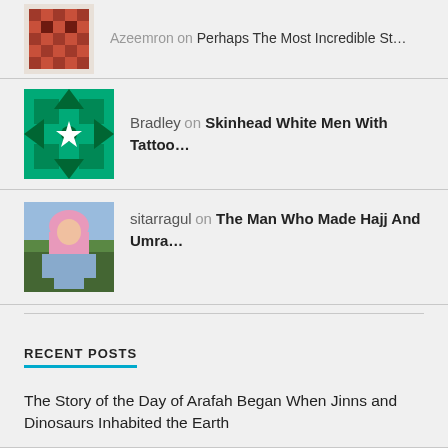Azeemron on Perhaps The Most Incredible St...
Bradley on Skinhead White Men With Tattoo...
sitarragul on The Man Who Made Hajj And Umra...
RECENT POSTS
The Story of the Day of Arafah Began When Jinns and Dinosaurs Inhabited the Earth
18 Years To The Day After I Was Tortured, I Can Declare That I Have Defeated My Torturers
A Divine Sign That I Witnessed in Prison in Ramadan 2009